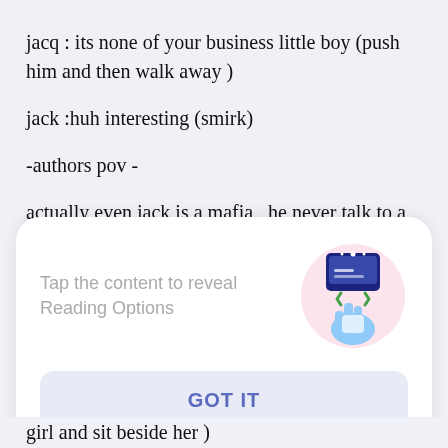jacq : its none of your business little boy (push him and then walk away )
jack :huh interesting (smirk)
-authors pov -
actually even jack is a mafia , he never talk to a girl , he always focus on his job , as a mafia likes to kill people and heartless they never forgive people.. jacq
[Figure (screenshot): A UI overlay card with text 'Tap the content to reveal Reading Options' alongside an illustration of a hand tapping a phone screen, and a button labeled 'GOT IT']
girl and sit beside her )